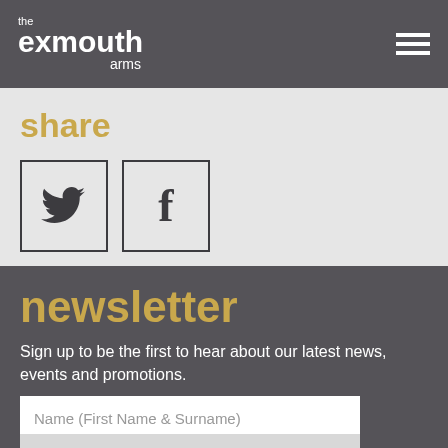the exmouth arms
share
[Figure (other): Twitter bird icon in a square bordered box]
[Figure (other): Facebook 'f' icon in a square bordered box]
newsletter
Sign up to be the first to hear about our latest news, events and promotions.
Name (First Name & Surname)